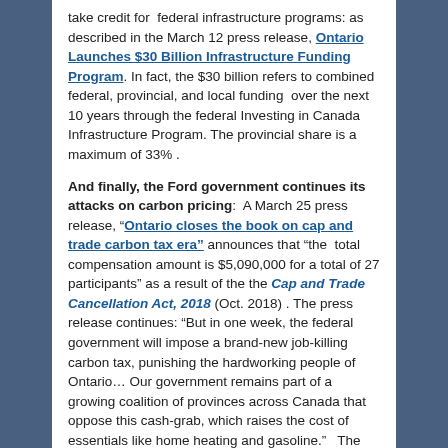take credit for federal infrastructure programs: as described in the March 12 press release, Ontario Launches $30 Billion Infrastructure Funding Program. In fact, the $30 billion refers to combined federal, provincial, and local funding over the next 10 years through the federal Investing in Canada Infrastructure Program. The provincial share is a maximum of 33% .
And finally, the Ford government continues its attacks on carbon pricing: A March 25 press release, “Ontario closes the book on cap and trade carbon tax era” announces that “the total compensation amount is $5,090,000 for a total of 27 participants” as a result of the the Cap and Trade Cancellation Act, 2018 (Oct. 2018) . The press release continues: “But in one week, the federal government will impose a brand-new job-killing carbon tax, punishing the hardworking people of Ontario… Our government remains part of a growing coalition of provinces across Canada that oppose this cash-grab, which raises the cost of essentials like home heating and gasoline.” The reality is that as of April 1st,